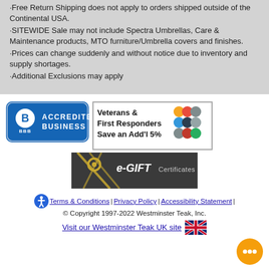·Free Return Shipping does not apply to orders shipped outside of the Continental USA.
·SITEWIDE Sale may not include Spectra Umbrellas, Care & Maintenance products, MTO furniture/Umbrella covers and finishes.
·Prices can change suddenly and without notice due to inventory and supply shortages.
·Additional Exclusions may apply
[Figure (logo): BBB Accredited Business badge (blue rounded rectangle with BBB logo and 'ACCREDITED BUSINESS' text)]
[Figure (infographic): Veterans & First Responders Save an Add'l 5% badge with colored military/responder icons]
[Figure (infographic): e-GIFT Certificates banner with gold ribbon bow on dark background]
Terms & Conditions | Privacy Policy | Accessibility Statement | © Copyright 1997-2022 Westminster Teak, Inc.
Visit our Westminster Teak UK site 🇬🇧